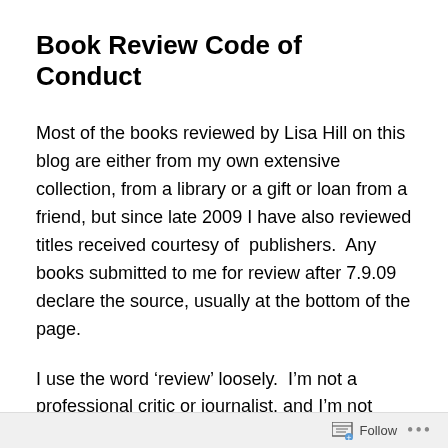Book Review Code of Conduct
Most of the books reviewed by Lisa Hill on this blog are either from my own extensive collection, from a library or a gift or loan from a friend, but since late 2009 I have also reviewed titles received courtesy of  publishers.  Any books submitted to me for review after 7.9.09 declare the source, usually at the bottom of the page.
I use the word ‘review’ loosely.  I’m not a professional critic or journalist, and I’m not being paid to write anything on this blog.  I’m a retired teacher with a long-ago degree in English and a lifetime of reading literary fiction and the classics behind me.  This blog is my claim to a small patch
Follow ...